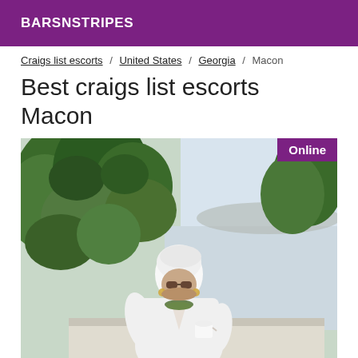BARSNSTRIPES
Craigs list escorts / United States / Georgia / Macon
Best craigs list escorts Macon
[Figure (photo): Woman in white bathrobe and white head towel, wearing sunglasses and a green necklace, holding a white coffee cup, standing outdoors with green trees and a waterfront/lake in the background. An 'Online' badge appears in the top-right corner of the image.]